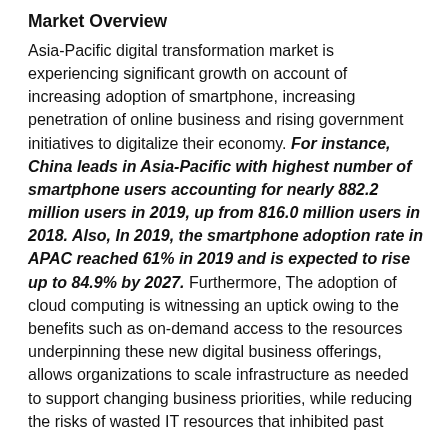Market Overview
Asia-Pacific digital transformation market is experiencing significant growth on account of increasing adoption of smartphone, increasing penetration of online business and rising government initiatives to digitalize their economy. For instance, China leads in Asia-Pacific with highest number of smartphone users accounting for nearly 882.2 million users in 2019, up from 816.0 million users in 2018. Also, In 2019, the smartphone adoption rate in APAC reached 61% in 2019 and is expected to rise up to 84.9% by 2027. Furthermore, The adoption of cloud computing is witnessing an uptick owing to the benefits such as on-demand access to the resources underpinning these new digital business offerings, allows organizations to scale infrastructure as needed to support changing business priorities, while reducing the risks of wasted IT resources that inhibited past